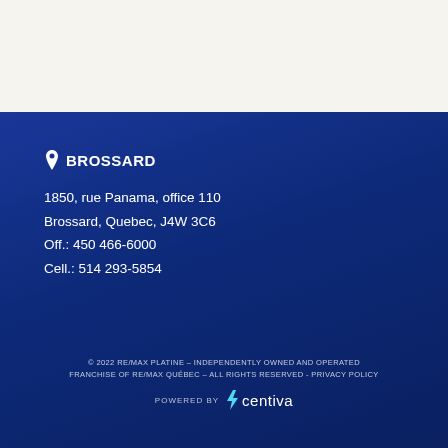BROSSARD
1850, rue Panama, office 110
Brossard, Quebec, J4W 3C6
Off.: 450 466-6000
Cell.: 514 293-5854
© 2022 RE/MAX PLATINE – INDEPENDENTLY OWNED AND OPERATED FRANCHISE OF RE/MAX QUÉBEC – ALL RIGHTS RESERVED - PRIVACY POLICY
[Figure (logo): Centiva logo with lightning bolt icon and 'centiva' wordmark, preceded by 'POWERED BY' label]